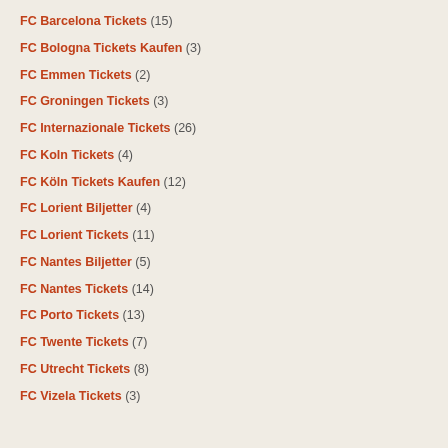FC Barcelona Tickets (15)
FC Bologna Tickets Kaufen (3)
FC Emmen Tickets (2)
FC Groningen Tickets (3)
FC Internazionale Tickets (26)
FC Koln Tickets (4)
FC Köln Tickets Kaufen (12)
FC Lorient Biljetter (4)
FC Lorient Tickets (11)
FC Nantes Biljetter (5)
FC Nantes Tickets (14)
FC Porto Tickets (13)
FC Twente Tickets (7)
FC Utrecht Tickets (8)
FC Vizela Tickets (3)